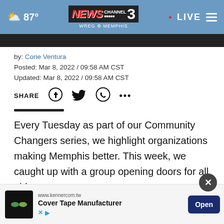NEWS CHANNEL 3 WREG MEMPHIS — LIVE — 87°
by: Corie Ventura
Posted: Mar 8, 2022 / 09:58 AM CST
Updated: Mar 8, 2022 / 09:58 AM CST
SHARE [Facebook] [Twitter] [WhatsApp] [...]
Every Tuesday as part of our Community Changers series, we highlight organizations making Memphis better. This week, we caught up with a group opening doors for all girls.
As we...th,
[Figure (screenshot): Advertisement banner: www.kennercom.tw — Cover Tape Manufacturer — Open button]